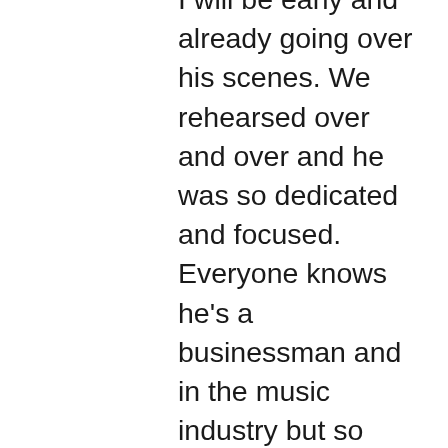I will be early and already going over his scenes. We rehearsed over and over and he was so dedicated and focused. Everyone knows he's a businessman and in the music industry but so many are going to be surprised and don't know what he is or could be as an actor. There are so many levels he can take this thing because he is in the zone and I think he got bit by the acting bug and set for world domination. He has a team that he knows and trusts and will make sure that he shines. He shines in everything else that he does and we know what he is capable of. He is a boss. If you want to be a Tyler Perry or Master P, you better be about your stuff. It's not something that you just walk into. You have to work for it and put in the work.